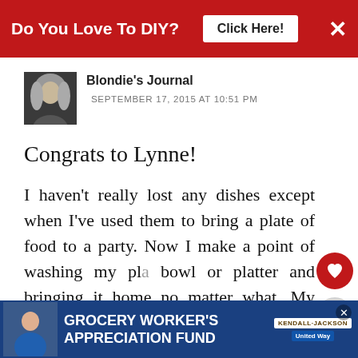[Figure (screenshot): Red banner advertisement: 'Do You Love To DIY? Click Here!' with X close button]
[Figure (photo): Small black and white profile photo of a blonde person]
Blondie's Journal
SEPTEMBER 17, 2015 AT 10:51 PM
Congrats to Lynne!
I haven't really lost any dishes except when I've used them to bring a plate of food to a party. Now I make a point of washing my pla… bowl or platter and bringing it home no matter what. My bigges… EVER was getting place settings for eight from Ballard's for over …upend …nd the
[Figure (screenshot): Bottom banner ad: Grocery Worker's Appreciation Fund with Kendall Jackson and United Way logos]